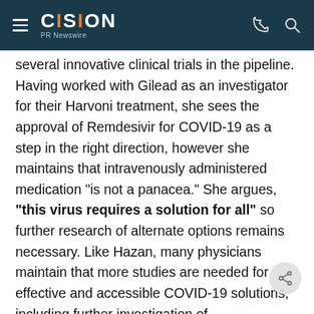CISION PR Newswire
several innovative clinical trials in the pipeline. Having worked with Gilead as an investigator for their Harvoni treatment, she sees the approval of Remdesivir for COVID-19 as a step in the right direction, however she maintains that intravenously administered medication "is not a panacea." She argues, "this virus requires a solution for all" so further research of alternate options remains necessary. Like Hazan, many physicians maintain that more studies are needed for effective and accessible COVID-19 solutions, including further investigation of hydroxychloroquine (HCQ) and azithromycin (AZI) which have shown promise in COVID studies